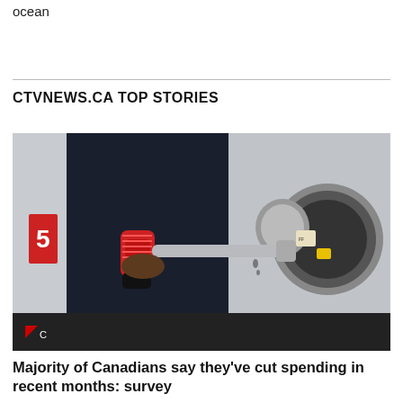ocean
CTVNEWS.CA TOP STORIES
[Figure (photo): A person's hand holding a red fuel pump nozzle inserted into a car's fuel tank opening. The background shows a gas station setting.]
Majority of Canadians say they've cut spending in recent months: survey